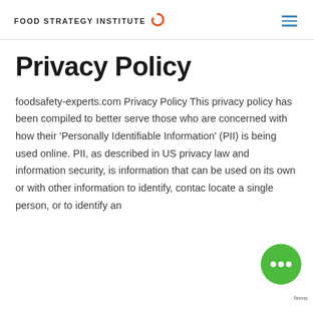FOOD STRATEGY INSTITUTE
Privacy Policy
foodsafety-experts.com Privacy Policy This privacy policy has been compiled to better serve those who are concerned with how their ‘Personally Identifiable Information’ (PII) is being used online. PII, as described in US privacy law and information security, is information that can be used on its own or with other information to identify, contact, locate a single person, or to identify an